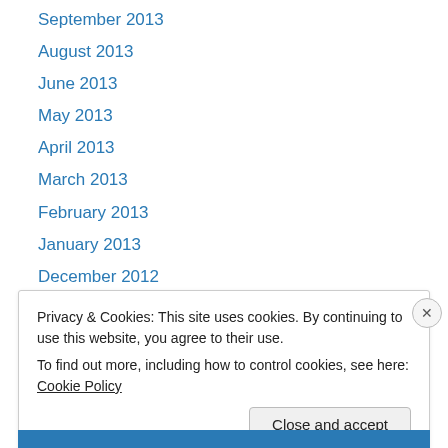September 2013
August 2013
June 2013
May 2013
April 2013
March 2013
February 2013
January 2013
December 2012
November 2012
October 2012
September 2012
July 2012
Privacy & Cookies: This site uses cookies. By continuing to use this website, you agree to their use.
To find out more, including how to control cookies, see here: Cookie Policy
Close and accept